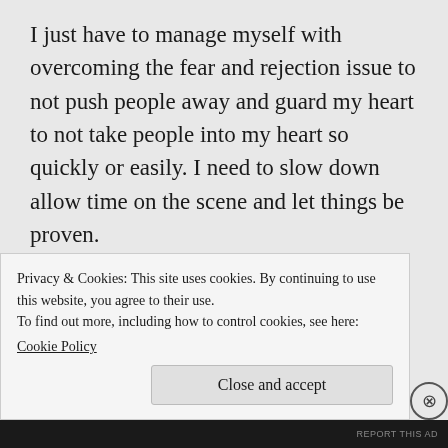I just have to manage myself with overcoming the fear and rejection issue to not push people away and guard my heart to not take people into my heart so quickly or easily. I need to slow down allow time on the scene and let things be proven.
When God sends me people with a heart after his, yes they may judge and show concern, but also accept that they too have issues and we all are working to overcome and accept
Privacy & Cookies: This site uses cookies. By continuing to use this website, you agree to their use.
To find out more, including how to control cookies, see here:
Cookie Policy
Close and accept